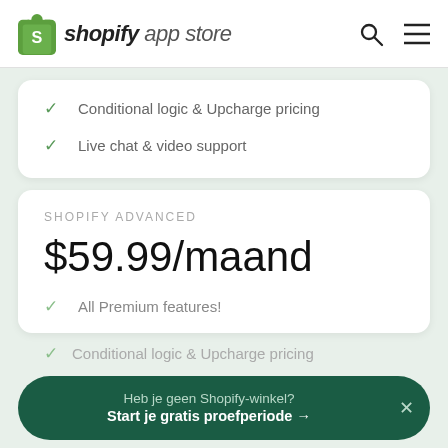shopify app store
Conditional logic & Upcharge pricing
Live chat & video support
SHOPIFY ADVANCED
$59.99/maand
All Premium features!
Heb je geen Shopify-winkel? Start je gratis proefperiode →
Conditional logic & Upcharge pricing